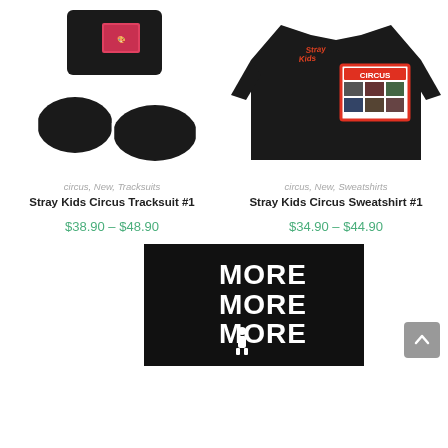[Figure (photo): Black tracksuit set (crop top and shorts with white stripes) with colorful graphic print]
[Figure (photo): Black sweatshirt with Stray Kids Circus graphic print on chest and 'Stray Kids' text on shoulder]
circus, New, Tracksuits
Stray Kids Circus Tracksuit #1
$38.90 – $48.90
circus, New, Sweatshirts
Stray Kids Circus Sweatshirt #1
$34.90 – $44.90
[Figure (photo): Black background with white bold text reading MORE MORE MORE and a small figure below]